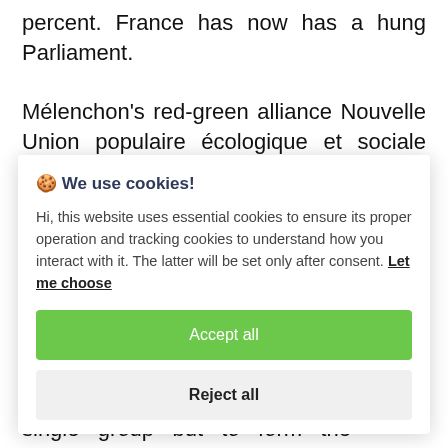percent. France has now has a hung Parliament.
Mélenchon's red-green alliance Nouvelle Union populaire écologique et sociale (the New Ecological and Social Popular
[Figure (screenshot): Cookie consent dialog overlay with title '🍪 We use cookies!', explanatory text about essential and tracking cookies, a 'Let me choose' link, a green 'Accept all' button, and a light gray 'Reject all' button.]
single group but to form the